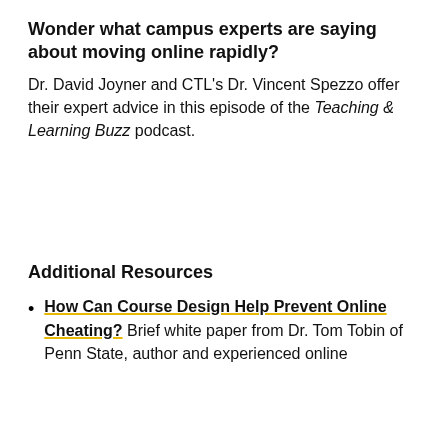Wonder what campus experts are saying about moving online rapidly?
Dr. David Joyner and CTL's Dr. Vincent Spezzo offer their expert advice in this episode of the Teaching & Learning Buzz podcast.
Additional Resources
How Can Course Design Help Prevent Online Cheating? Brief white paper from Dr. Tom Tobin of Penn State, author and experienced online